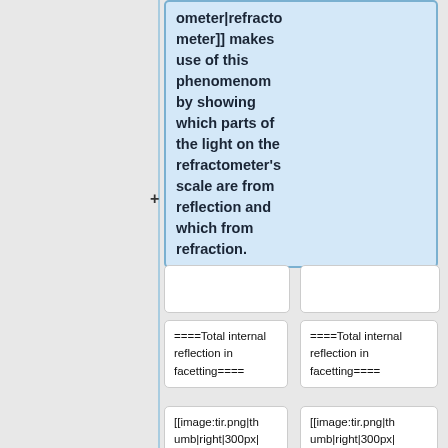ometer|refractometer]] makes use of this phenomenom by showing which parts of the light on the refractometer's scale are from reflection and which from refraction.
====Total internal reflection in facetting====
====Total internal reflection in facetting====
[[image:tir.png|thumb|right|300px|Total Internal Reflection in a Diamond.
[[image:tir.png|thumb|right|300px|Total Internal Reflection in a Diamond.